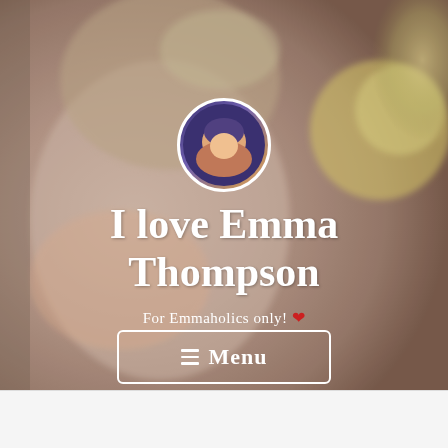[Figure (photo): Hero background image of a smiling blonde woman (Emma Thompson), blurred/bokeh effect. A small circular avatar profile photo is overlaid in the center.]
I love Emma Thompson
For Emmaholics only! ❤
≡ Menu
Follow ...